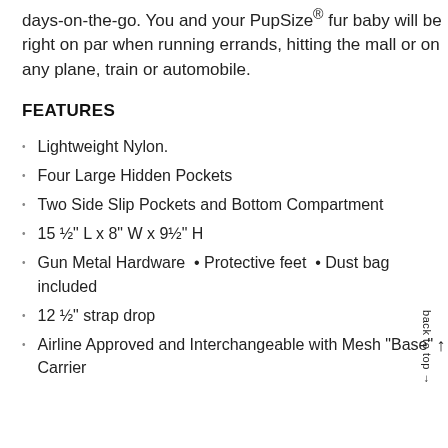days-on-the-go. You and your PupSize® fur baby will be right on par when running errands, hitting the mall or on any plane, train or automobile.
FEATURES
Lightweight Nylon.
Four Large Hidden Pockets
Two Side Slip Pockets and Bottom Compartment
15 ½" L x 8" W x 9½" H
Gun Metal Hardware  • Protective feet  • Dust bag included
12 ½" strap drop
Airline Approved and Interchangeable with Mesh "Base" Carrier